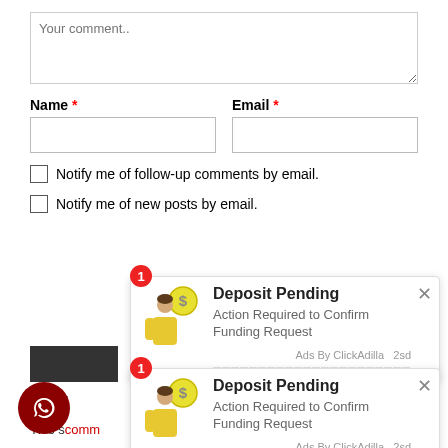Your comment..
Name * (required)
Email * (required)
Notify me of follow-up comments by email.
Notify me of new posts by email.
[Figure (screenshot): Notification popup 1: Deposit Pending - Action Required to Confirm Funding Request. Ads By ClickAdilla 2sd]
[Figure (screenshot): Notification popup 2: Deposit Pending - Action Required to Confirm Funding Request. Ads By ClickAdilla 2sd]